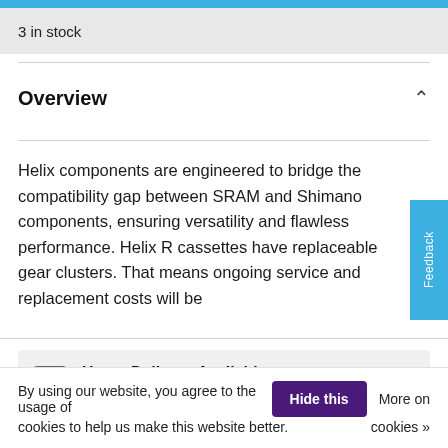3 in stock
Overview
Helix components are engineered to bridge the compatibility gap between SRAM and Shimano components, ensuring versatility and flawless performance. Helix R cassettes have replaceable gear clusters. That means ongoing service and replacement costs will be
Home Delivery Available
We can deliver your bike personally and set it up for you.
By using our website, you agree to the usage of cookies to help us make this website better.